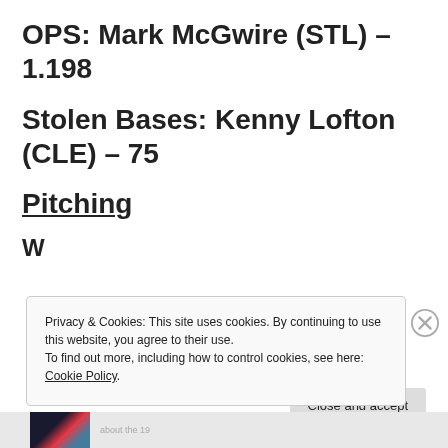OPS: Mark McGwire (STL) – 1.198
Stolen Bases: Kenny Lofton (CLE) – 75
Pitching
Privacy & Cookies: This site uses cookies. By continuing to use this website, you agree to their use.
To find out more, including how to control cookies, see here: Cookie Policy
Close and accept